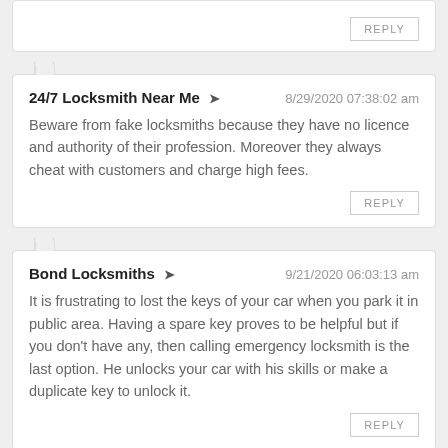REPLY
24/7 Locksmith Near Me
8/29/2020 07:38:02 am
Beware from fake locksmiths because they have no licence and authority of their profession. Moreover they always cheat with customers and charge high fees.
REPLY
Bond Locksmiths
9/21/2020 06:03:13 am
It is frustrating to lost the keys of your car when you park it in public area. Having a spare key proves to be helpful but if you don't have any, then calling emergency locksmith is the last option. He unlocks your car with his skills or make a duplicate key to unlock it.
REPLY
Fast Locksmith
10/8/2020 08:11:54 am
There were various emergency locksmiths available for all